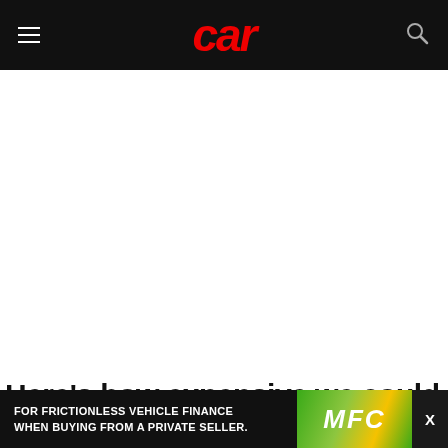car
[Figure (photo): Large white/blank content area below the CAR magazine header navigation bar]
Here’s how expensive we could spec a
[Figure (infographic): Advertisement banner: FOR FRICTIONLESS VEHICLE FINANCE WHEN BUYING FROM A PRIVATE SELLER. MFC logo with green and yellow chevron pattern. X close button.]